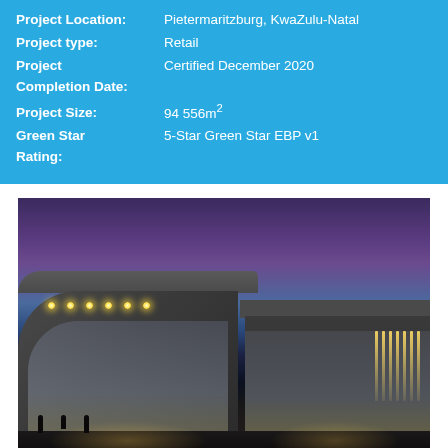| Field | Value |
| --- | --- |
| Project Location: | Pietermaritzburg, KwaZulu-Natal |
| Project type: | Retail |
| Project Completion Date: | Certified December 2020 |
| Project Size: | 94 556m² |
| Green Star Rating: | 5-Star Green Star EBP v1 |
[Figure (photo): Exterior night/dusk photo of a modern retail shopping center with curved glass facade on the left building and illuminated interior visible through glass walls, with a purple-blue sky at dusk.]